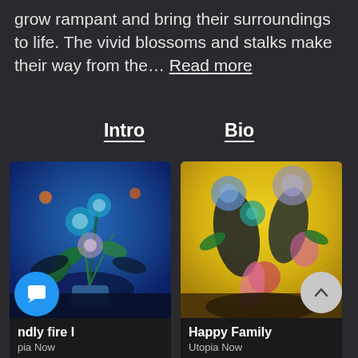grow rampant and bring their surroundings to life. The vivid blossoms and stalks make their way from the… Read more
Intro
Bio
[Figure (photo): Painting of vivid blue floral arrangement — 'Friendly fire I' by Utopia Now, from $649 to $1,299]
[Figure (photo): Colorful painting of happy family florals on yellow background — 'Happy Family' by Utopia Now, from $649 to $1,299]